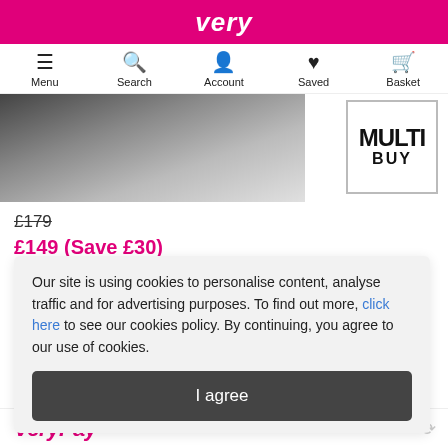very
[Figure (screenshot): Navigation bar with Menu, Search, Account, Saved, Basket icons]
[Figure (other): Product image (partially visible tablet/device) with MULTI BUY badge in top right corner]
£179
£149 (Save £30)
Our site is using cookies to personalise content, analyse traffic and for advertising purposes. To find out more, click here to see our cookies policy. By continuing, you agree to our use of cookies.
I agree
VeryPay